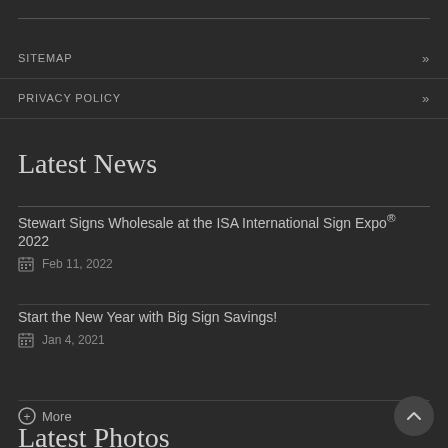SITEMAP »
PRIVACY POLICY »
Latest News
Stewart Signs Wholesale at the ISA International Sign Expo® 2022
Feb 11, 2022
Start the New Year with Big Sign Savings!
Jan 4, 2021
+ More
Latest Photos